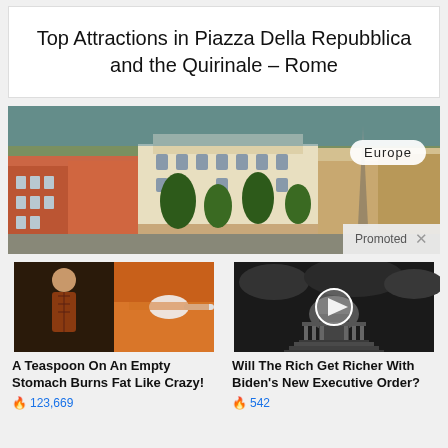Top Attractions in Piazza Della Repubblica and the Quirinale – Rome
[Figure (photo): Aerial photo of Piazza Della Repubblica area in Rome with badge 'Europe' and 'Promoted x' overlay]
[Figure (photo): Ad: A Teaspoon On An Empty Stomach Burns Fat Like Crazy! - image of fit person and spoon with powder. 🔥 123,669]
A Teaspoon On An Empty Stomach Burns Fat Like Crazy!
🔥 123,669
[Figure (photo): Ad: Will The Rich Get Richer With Biden's New Executive Order? - black and white image of US Capitol with play button. 🔥 542]
Will The Rich Get Richer With Biden's New Executive Order?
🔥 542